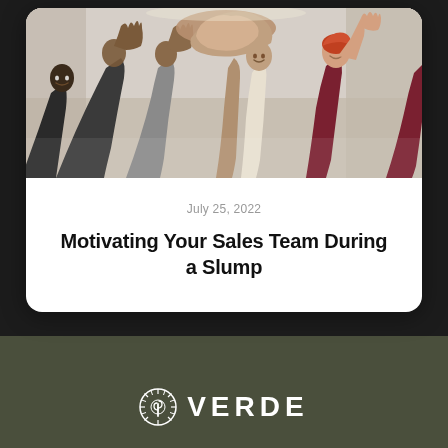[Figure (photo): Group of diverse people reaching hands together in a team high-five, viewed from below, smiling and celebrating teamwork]
July 25, 2022
Motivating Your Sales Team During a Slump
[Figure (logo): Verde company logo with circular sun/plant icon and the word VERDE in large letters]